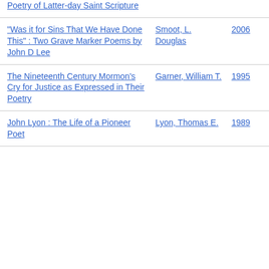| Title | Author | Year |
| --- | --- | --- |
| Poetry of Latter-day Saint Scripture |  |  |
| "Was it for Sins That We Have Done This" : Two Grave Marker Poems by John D Lee | Smoot, L. Douglas | 2006 |
| The Nineteenth Century Mormon's Cry for Justice as Expressed in Their Poetry | Garner, William T. | 1995 |
| John Lyon : The Life of a Pioneer Poet | Lyon, Thomas E. | 1989 |